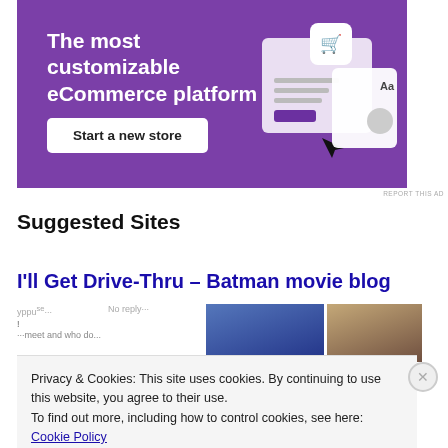[Figure (illustration): Purple banner advertisement for an eCommerce platform with white text 'The most customizable eCommerce platform', a white 'Start a new store' button, and an illustration of a shopping cart UI mockup on the right side.]
REPORT THIS AD
Suggested Sites
I'll Get Drive-Thru – Batman movie blog
[Figure (screenshot): Partial preview of a blog page showing cropped text snippets and two thumbnail images.]
Privacy & Cookies: This site uses cookies. By continuing to use this website, you agree to their use.
To find out more, including how to control cookies, see here: Cookie Policy
Close and accept